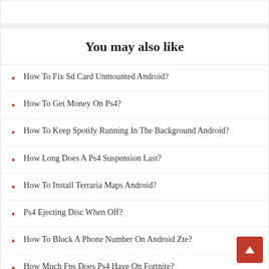You may also like
How To Fix Sd Card Unmounted Android?
How To Get Money On Ps4?
How To Keep Spotify Running In The Background Android?
How Long Does A Ps4 Suspension Last?
How To Install Terraria Maps Android?
Ps4 Ejecting Disc When Off?
How To Block A Phone Number On Android Zte?
How Much Fps Does Ps4 Have On Fortnite?
How To Hide Chat On Sc Android?